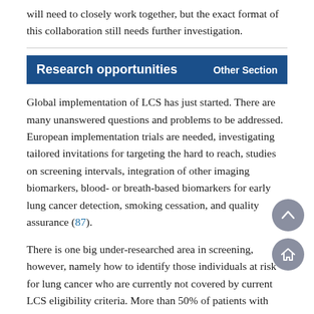will need to closely work together, but the exact format of this collaboration still needs further investigation.
Research opportunities  Other Section
Global implementation of LCS has just started. There are many unanswered questions and problems to be addressed. European implementation trials are needed, investigating tailored invitations for targeting the hard to reach, studies on screening intervals, integration of other imaging biomarkers, blood- or breath-based biomarkers for early lung cancer detection, smoking cessation, and quality assurance (87).
There is one big under-researched area in screening, however, namely how to identify those individuals at risk for lung cancer who are currently not covered by current LCS eligibility criteria. More than 50% of patients with lung cancer would not have fulfilled current criteria for LCS because they have never smoked or stopped smoking long ago (88,89). Research is urgently